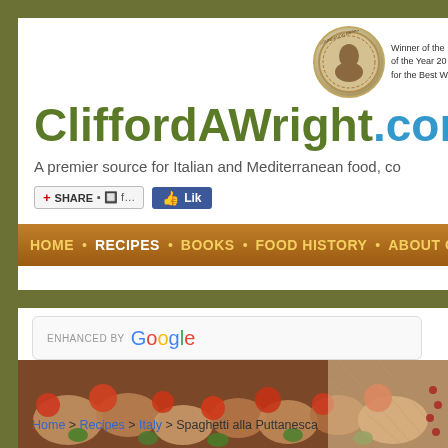[Figure (screenshot): CliffordAWright.com website screenshot showing header, navigation bar, Google search box, food photo, and breadcrumb navigation]
CliffordAWright.com
A premier source for Italian and Mediterranean food, co
HOME • RECIPES • BOOKS • FOOD HISTORY • ABOUT CLI
ENHANCED BY Google
Home > Recipes > Italy > Spaghetti alla Puttanesca